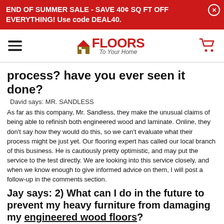END OF SUMMER SALE - SAVE 40¢ SQ FT OFF EVERYTHING! Use code DEAL40.
[Figure (logo): Floors To Your Home logo with house icon, red text, hamburger menu and cart icon]
process? have you ever seen it done?
David says: MR. SANDLESS
As far as this company, Mr. Sandless, they make the unusual claims of being able to refinish both engineered wood and laminate. Online, they don't say how they would do this, so we can't evaluate what their process might be just yet. Our flooring expert has called our local branch of this business. He is cautiously pretty optimistic, and may put the service to the test directly. We are looking into this service closely, and when we know enough to give informed advice on them, I will post a follow-up in the comments section.
Jay says: 2) What can I do in the future to prevent my heavy furniture from damaging my engineered wood floors?
David says: PREVENTION